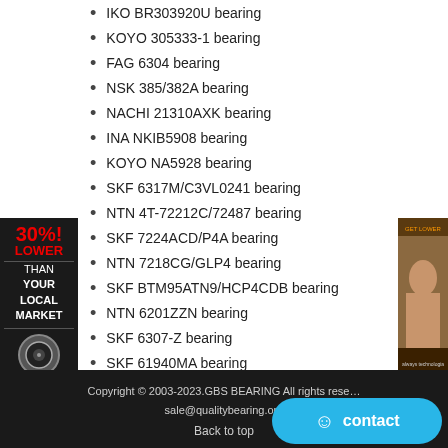IKO BR303920U bearing
KOYO 305333-1 bearing
FAG 6304 bearing
NSK 385/382A bearing
NACHI 21310AXK bearing
INA NKIB5908 bearing
KOYO NA5928 bearing
SKF 6317M/C3VL0241 bearing
NTN 4T-72212C/72487 bearing
SKF 7224ACD/P4A bearing
NTN 7218CG/GLP4 bearing
SKF BTM95ATN9/HCP4CDB bearing
NTN 6201ZZN bearing
SKF 6307-Z bearing
SKF 61940MA bearing
SKF 7203BECBM bearing
SKF QJ305N2MA bearing
Copyright © 2003-2023.GBS BEARING All rights reserved  sale@qualitybearing.org  Back to top